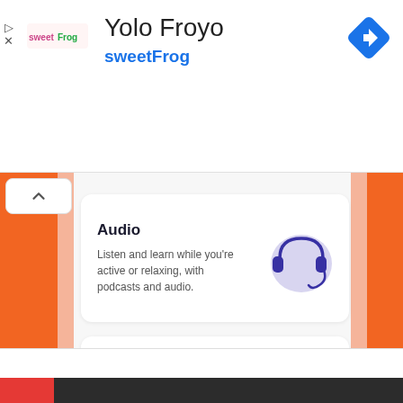[Figure (screenshot): Ad banner for Yolo Froyo / sweetFrog with logo, title text, and navigation icon]
Yolo Froyo
sweetFrog
[Figure (illustration): App content page with Audio and Games cards on orange background with decorative side panels]
Audio
Listen and learn while you're active or relaxing, with podcasts and audio.
Games
Challenge yourself, with quick, fun games.